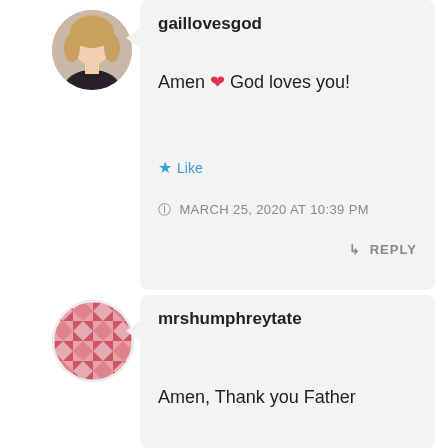[Figure (photo): Circular avatar photo of a woman with blond hair wearing a dark top]
gaillovesgod
Amen ❤ God loves you!
★ Like
MARCH 25, 2020 AT 10:39 PM
↳ REPLY
[Figure (illustration): Circular avatar with a decorative quilt/mosaic tile pattern in pink/red and white]
mrshumphreytate
Amen, Thank you Father